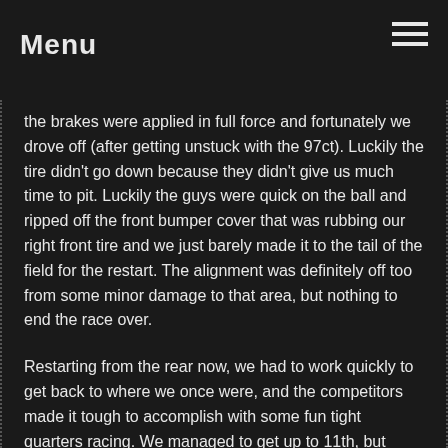Menu
the brakes were applied in full force and fortunately we drove off (after getting unstuck with the 97ct). Luckily the tire didn't go down because they didn't give us much time to pit. Luckily the guys were quick on the ball and ripped off the front bumper cover that was rubbing our right front tire and we just barely made it to the tail of the field for the restart. The alignment was definitely off too from some minor damage to that area, but nothing to end the race over.
Restarting from the rear now, we had to work quickly to get back to where we once were, and the competitors made it tough to accomplish with some fun tight quarters racing. We managed to get up to 11th, but coming to take the white flag out of turn 4, the 87 drifted up into our left rear while attempting to pass and kicked us sideways in the high groove up near the wall. We made an impressive save and were able to keep going